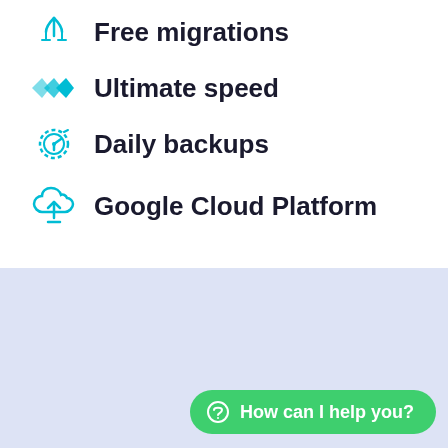Free migrations
Ultimate speed
Daily backups
Google Cloud Platform
Premium Features on All Plans
How can I help you?